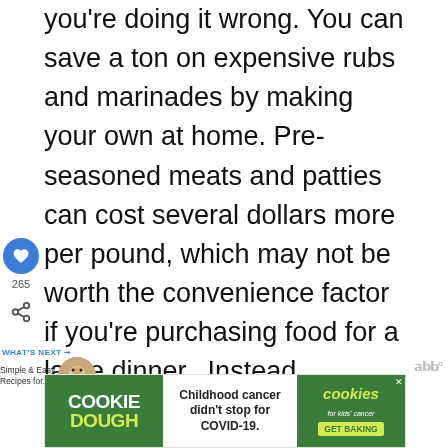you're doing it wrong. You can save a ton on expensive rubs and marinades by making your own at home. Pre-seasoned meats and patties can cost several dollars more per pound, which may not be worth the convenience factor if you're purchasing food for a large dinner. Instead, experiment with different recipes for rubs or marinades. A handful of ingredients can go a very long way, and help you create a variety of recipes. There are a few spices and oils you should be sure to have (if you don't already): cracked pepper, sea salt, paprika, garlic powder, onion powder, brown sugar, soy sauce, sesame oil and olive oil.
[Figure (other): Social sidebar with heart/like button showing 265 count and share button]
[Figure (other): What's Next promo: Simple & Easy Recipes for... with circular thumbnail image]
[Figure (other): Cookie Dough advertisement banner: Childhood cancer didn't stop for COVID-19. GET BAKING. cookies for kids cancer logo.]